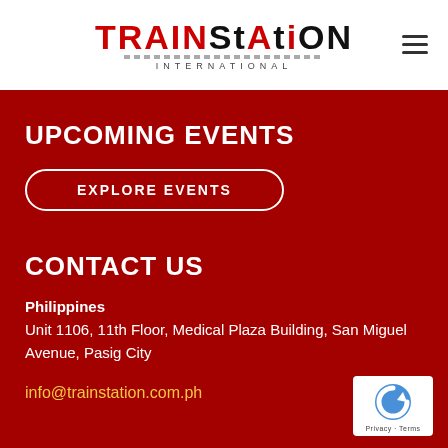TRAINSTATION INTERNATIONAL
[Figure (logo): TrainStation International logo with red TRAIN and black STATION text, decorative rail track underline, INTERNATIONAL in spaced capitals below]
UPCOMING EVENTS
EXPLORE EVENTS
CONTACT US
Philippines
Unit 1106, 11th Floor, Medical Plaza Building, San Miguel Avenue, Pasig City
info@trainstation.com.ph
[Figure (logo): Google reCAPTCHA badge with blue C logo and Privacy - Terms text]